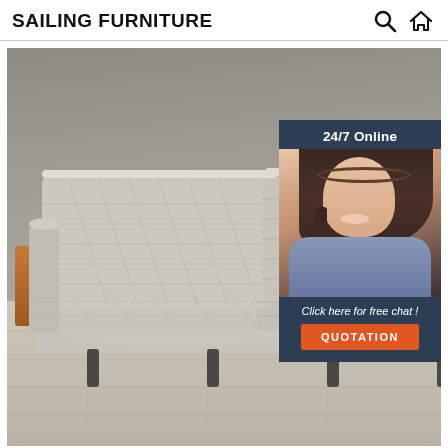SAILING FURNITURE
[Figure (photo): A light gray quilted fabric sofa with diamond-pattern stitching on the backrest and seat cushions, with dark metal legs, displayed in a room with gray walls and light wood-effect flooring. An overlay chat widget in the upper right shows a customer service representative with a headset, text '24/7 Online', 'Click here for free chat!', and a 'QUOTATION' button.]